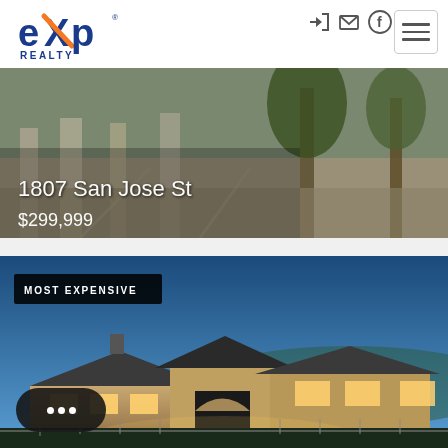[Figure (logo): eXp Realty logo - blue and orange wordmark]
[Figure (photo): Outdoor land/property photo showing trees and concrete structures with text overlay: 1807 San Jose St, $299,999]
[Figure (photo): Luxury home exterior at dusk with warm lighting, labeled MOST EXPENSIVE]